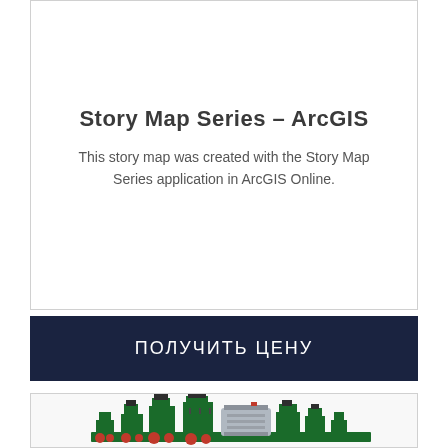Story Map Series – ArcGIS
This story map was created with the Story Map Series application in ArcGIS Online.
ПОЛУЧИТЬ ЦЕНУ
[Figure (photo): Industrial machinery — a row of green oil press machines with silver cylindrical components, red wheels, and various mechanical parts on a white background.]